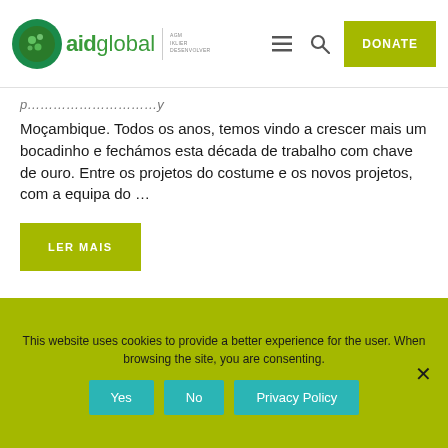[Figure (logo): Aid Global logo with green circle icon, 'aidglobal' text and AGM/IKLIER/DESENVOLVER taglines]
Moçambique. Todos os anos, temos vindo a crescer mais um bocadinho e fechámos esta década de trabalho com chave de ouro. Entre os projetos do costume e os novos projetos, com a equipa do ...
LER MAIS
This website uses cookies to provide a better experience for the user. When browsing the site, you are consenting.